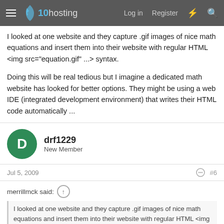x10hosting — Log in   Register
I looked at one website and they capture .gif images of nice math equations and insert them into their website with regular HTML <img src="equation.gif" ...> syntax.

Doing this will be real tedious but I imagine a dedicated math website has looked for better options. They might be using a web IDE (integrated development environment) that writes their HTML code automatically ...
drf1229
New Member
Jul 5, 2009
#6
merrillmck said: ↑
I looked at one website and they capture .gif images of nice math equations and insert them into their website with regular HTML <img src="equation.gif" ...> syntax.